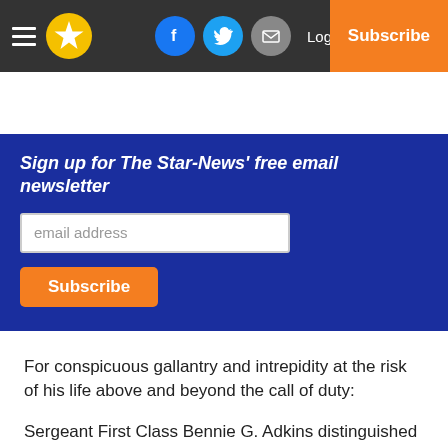The Star-News navigation bar with hamburger menu, star logo, Facebook, Twitter, email icons, Log In, Subscribe
Sign up for The Star-News' free email newsletter
For conspicuous gallantry and intrepidity at the risk of his life above and beyond the call of duty:
Sergeant First Class Bennie G. Adkins distinguished